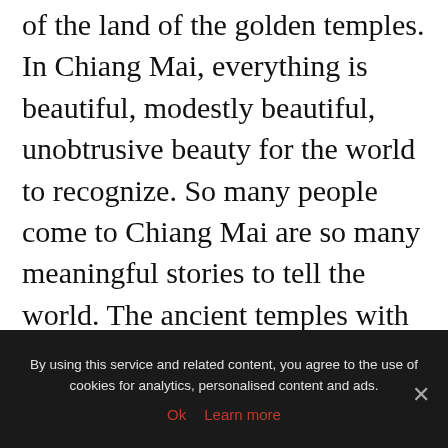of the land of the golden temples. In Chiang Mai, everything is beautiful, modestly beautiful, unobtrusive beauty for the world to recognize. So many people come to Chiang Mai are so many meaningful stories to tell the world. The ancient temples with unique architecture, rich history and culture along with many strange and unique places of Chiang Mai have spent much ink of those who love to write about beauty. Especially, for those who love handicraft products have a reason to go to Chiang Mai, because every step in Chiang Mai you will see a pottery item, a handmade embroidery product,
By using this service and related content, you agree to the use of cookies for analytics, personalised content and ads.
Ok   Learn more